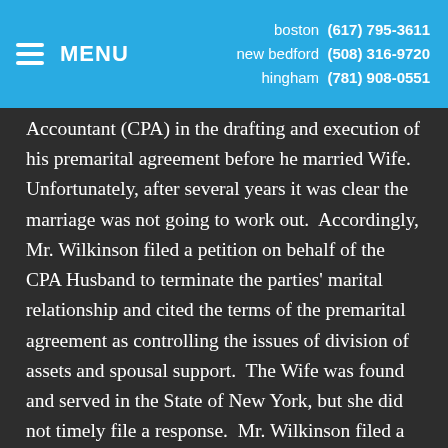MENU | boston (617) 795-3611 | new bedford (508) 316-9720 | hingham (781) 908-0551
Accountant (CPA) in the drafting and execution of his premarital agreement before he married Wife. Unfortunately, after several years it was clear the marriage was not going to work out. Accordingly, Mr. Wilkinson filed a petition on behalf of the CPA Husband to terminate the parties' marital relationship and cited the terms of the premarital agreement as controlling the issues of division of assets and spousal support. The Wife was found and served in the State of New York, but she did not timely file a response. Mr. Wilkinson filed a motion to proceed by “default” (i.e. without the Wife’s participation in the case) and ultimately Husband was granted the divorce and everything he